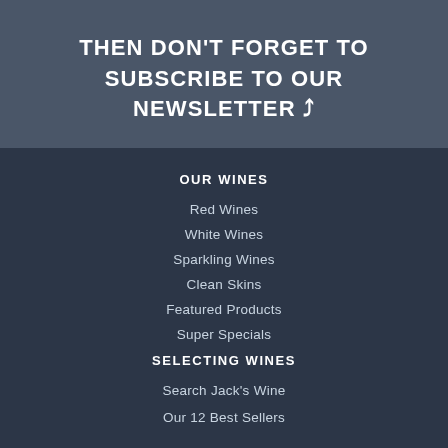THEN DON'T FORGET TO SUBSCRIBE TO OUR NEWSLETTER
OUR WINES
Red Wines
White Wines
Sparkling Wines
Clean Skins
Featured Products
Super Specials
SELECTING WINES
Search Jack's Wine
Our 12 Best Sellers